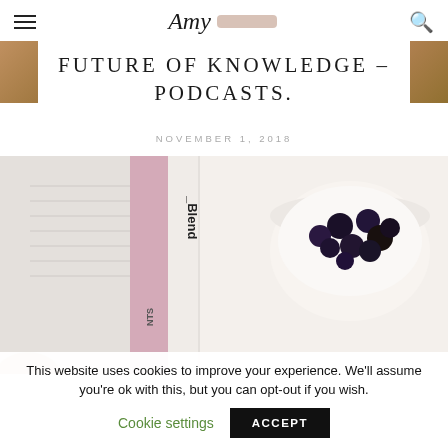Amy [logo]
FUTURE OF KNOWLEDGE – PODCASTS.
NOVEMBER 1, 2018
[Figure (photo): Photo of a product package labeled 'Blend' with text rotated, a pink strip, and a bowl of yogurt topped with blueberries. A cookie/biscuit is visible at the bottom left.]
This website uses cookies to improve your experience. We'll assume you're ok with this, but you can opt-out if you wish.
Cookie settings   ACCEPT